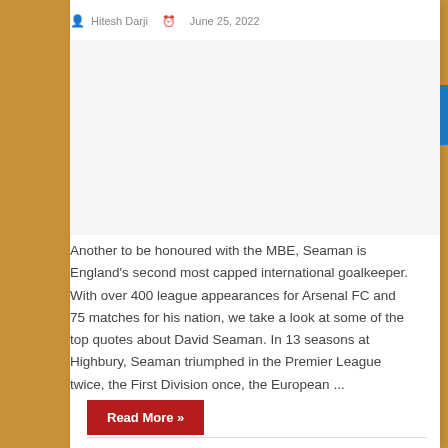Hitesh Darji   June 25, 2022
[Figure (photo): Empty white image placeholder area]
Another to be honoured with the MBE, Seaman is England's second most capped international goalkeeper. With over 400 league appearances for Arsenal FC and 75 matches for his nation, we take a look at some of the top quotes about David Seaman. In 13 seasons at Highbury, Seaman triumphed in the Premier League twice, the First Division once, the European ...
Read More »